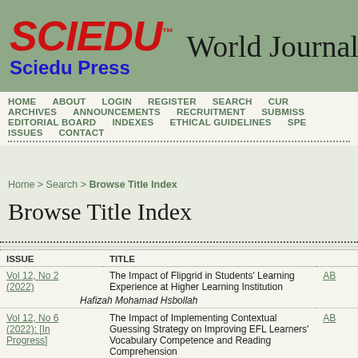SCIEDU™ Sciedu Press | World Journal o...
HOME  ABOUT  LOGIN  REGISTER  SEARCH  CUR...
ARCHIVES  ANNOUNCEMENTS  RECRUITMENT  SUBMISS...
EDITORIAL BOARD  INDEXES  ETHICAL GUIDELINES  SPE...
ISSUES  CONTACT
Home > Search > Browse Title Index
Browse Title Index
| ISSUE | TITLE |
| --- | --- |
| Vol 12, No 2 (2022) | The Impact of Flipgrid in Students' Learning Experience at Higher Learning Institution
Hafizah Mohamad Hsbollah |
| Vol 12, No 6 (2022): [In Progress] | The Impact of Implementing Contextual Guessing Strategy on Improving EFL Learners' Vocabulary Competence and Reading Comprehension
Aheer Al-Ghazo, Issam Ta'amneh |